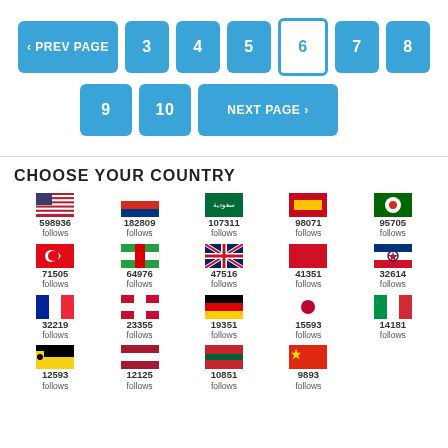[Figure (screenshot): Pagination controls showing PREV PAGE button, page numbers 3,4,5,6(active),7,8 on row 1, and 9,10,NEXT PAGE on row 2]
CHOOSE YOUR COUNTRY
| Flag | Count | Flag | Count | Flag | Count | Flag | Count | Flag | Count |
| --- | --- | --- | --- | --- | --- | --- | --- | --- | --- |
| USA | 598936 follows | Russia | 182809 follows | Saudi Arabia | 107311 follows | Spain | 98071 follows | Portugal | 95705 follows |
| Turkey | 71505 follows | Iran | 64976 follows | UK | 47516 follows | Indonesia | 41351 follows | South Korea | 32614 follows |
| France | 32219 follows | Denmark | 23355 follows | Germany | 19351 follows | Japan | 15593 follows | Italy | 14181 follows |
| Brunei | 12593 follows | Thailand | 12125 follows | Morocco | 10851 follows | China | 9893 follows |  |  |